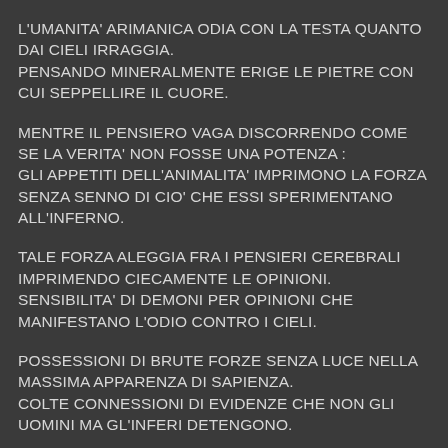L'UMANITA' ARIMANICA ODIA CON LA TESTA QUANTO DAI CIELI IRRAGGIA.
PENSANDO MINERALMENTE ERIGE LE PIETRE CON CUI SEPPELLIRE IL CUORE.
MENTRE IL PENSIERO VAGA DISCORRENDO COME SE LA VERITA' NON FOSSE UNA POTENZA :
GLI APPETITI DELL'ANIMALITA' IMPRIMONO LA FORZA SENZA SENNO DI CIO' CHE ESSI SPERIMENTANO ALL'INFERNO.
TALE FORZA ALEGGIA FRA I PENSIERI CEREBRALI IMPRIMENDO CIECAMENTE LE OPINIONI.
SENSIBILITA' DI DEMONI PER OPINIONI CHE MANIFESTANO L'ODIO CONTRO I CIELI.
POSSESSIONI DI BRUTE FORZE SENZA LUCE NELLA MASSIMA APPARENZA DI SAPIENZA.
COLTE CONNESSIONI DI EVIDENZE CHE NON GLI UOMINI MA GL'INFERI DETENGONO.
IMPAZZENDO